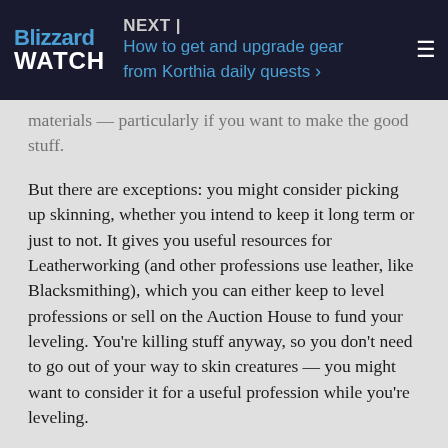Blizzard WATCH | NEXT | How to get and upgrade gear from Korthia daily quests ›
materials — particularly if you want to make the good stuff.
But there are exceptions: you might consider picking up skinning, whether you intend to keep it long term or just to not. It gives you useful resources for Leatherworking (and other professions use leather, like Blacksmithing), which you can either keep to level professions or sell on the Auction House to fund your leveling. You're killing stuff anyway, so you don't need to go out of your way to skin creatures — you might want to consider it for a useful profession while you're leveling.
First Aid is another profession to consider. You'll pick up cloth as you go and having bandages can really speed up the leveling process.
Regardless, if you want to hit level 60 as fast as possible,